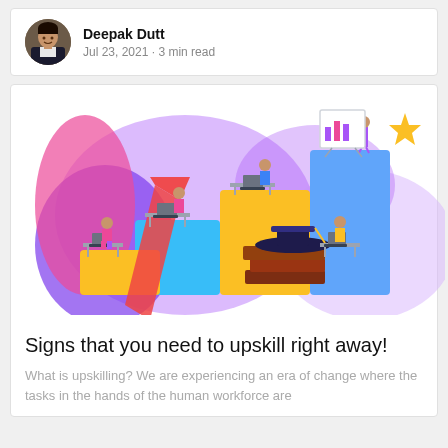Deepak Dutt
Jul 23, 2021 · 3 min read
[Figure (illustration): Colorful illustration of people upskilling: figures at desks on stacked bar-chart-like platforms with an upward arrow, graduation cap, books, and a person presenting at a whiteboard. A gold star floats in the upper right.]
Signs that you need to upskill right away!
What is upskilling?  We are experiencing an era of change where the tasks in the hands of the human workforce are